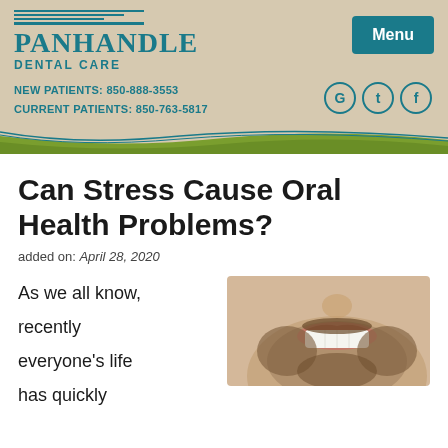[Figure (logo): Panhandle Dental Care logo with teal horizontal lines above the name]
Menu
NEW PATIENTS: 850-888-3553
CURRENT PATIENTS: 850-763-5817
[Figure (illustration): Social media icons: G (Google), t (Twitter/Tumblr), f (Facebook) in teal circles]
Can Stress Cause Oral Health Problems?
added on: April 28, 2020
As we all know, recently everyone's life has quickly
[Figure (photo): Close-up photo of a bearded man smiling showing his teeth]